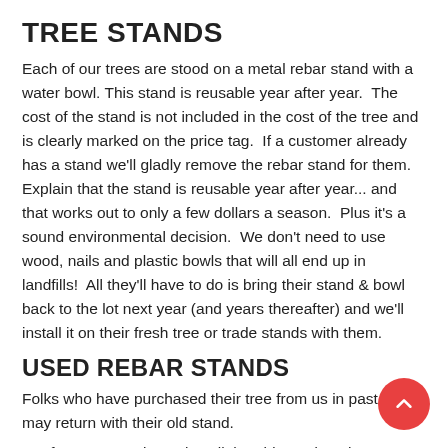TREE STANDS
Each of our trees are stood on a metal rebar stand with a water bowl. This stand is reusable year after year.  The cost of the stand is not included in the cost of the tree and is clearly marked on the price tag.  If a customer already has a stand we'll gladly remove the rebar stand for them.  Explain that the stand is reusable year after year... and that works out to only a few dollars a season.  Plus it's a sound environmental decision.  We don't need to use wood, nails and plastic bowls that will all end up in landfills!  All they'll have to do is bring their stand & bowl back to the lot next year (and years thereafter) and we'll install it on their fresh tree or trade stands with them.
USED REBAR STANDS
Folks who have purchased their tree from us in past years may return with their old stand.
If we're not going to install the old stand on the customers ne…, and will only be putting it into our inventory for later use, it is